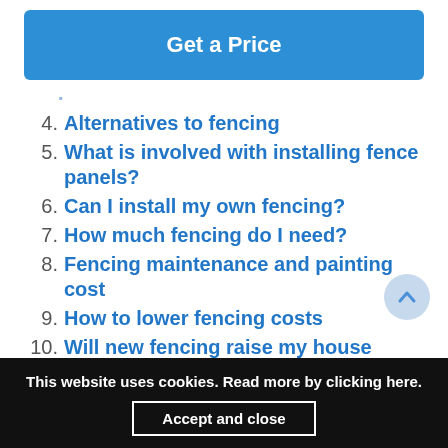Get a Price
4. Alternatives to fencing
5. What is involved with installing fence panels?
6. Can I install my own fencing?
7. How much fencing do I need?
8. Fencing maintenance and painting cost
9. How to lower fencing costs
10. Will new fencing raise my house value?
11. Planning permission for fences
12. (partial)
This website uses cookies. Read more by clicking here.
Accept and close